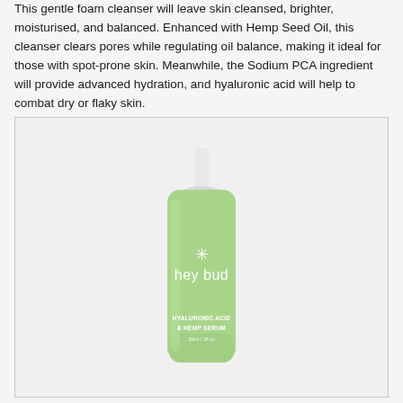This gentle foam cleanser will leave skin cleansed, brighter, moisturised, and balanced. Enhanced with Hemp Seed Oil, this cleanser clears pores while regulating oil balance, making it ideal for those with spot-prone skin. Meanwhile, the Sodium PCA ingredient will provide advanced hydration, and hyaluronic acid will help to combat dry or flaky skin.
[Figure (photo): A light green pump bottle of 'hey bud' Hyaluronic Acid & Hemp Serum with a white pump dispenser top, displayed against a light grey background inside a bordered box.]